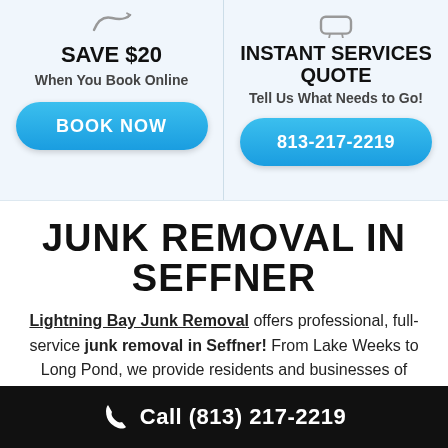SAVE $20
When You Book Online
BOOK NOW
INSTANT SERVICES QUOTE
Tell Us What Needs to Go!
813-217-2219
JUNK REMOVAL IN SEFFNER
Lightning Bay Junk Removal offers professional, full-service junk removal in Seffner! From Lake Weeks to Long Pond, we provide residents and businesses of Seffner with
Call (813) 217-2219